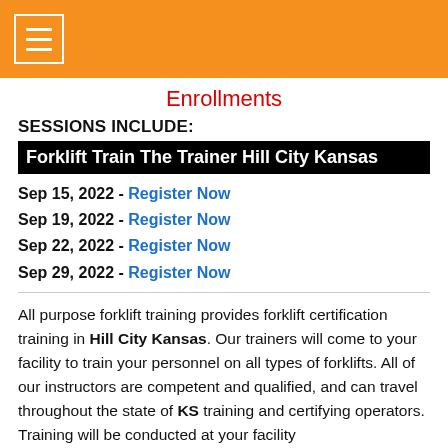Enrollments
SESSIONS INCLUDE:
Forklift Train The Trainer Hill City Kansas
Sep 15, 2022 - Register Now
Sep 19, 2022 - Register Now
Sep 22, 2022 - Register Now
Sep 29, 2022 - Register Now
All purpose forklift training provides forklift certification training in Hill City Kansas. Our trainers will come to your facility to train your personnel on all types of forklifts. All of our instructors are competent and qualified, and can travel throughout the state of KS training and certifying operators. Training will be conducted at your facility